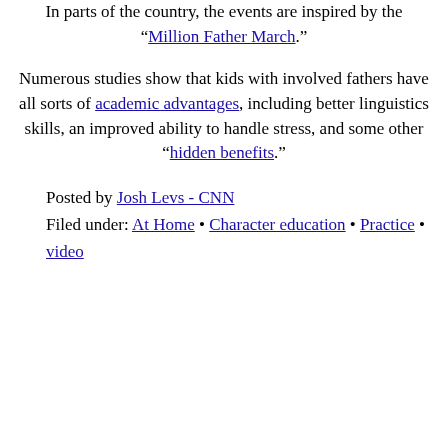In parts of the country, the events are inspired by the "Million Father March."
Numerous studies show that kids with involved fathers have all sorts of academic advantages, including better linguistics skills, an improved ability to handle stress, and some other "hidden benefits."
Posted by Josh Levs - CNN
Filed under: At Home • Character education • Practice • video